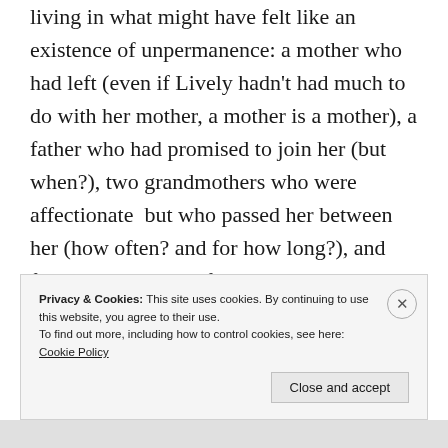living in what might have felt like an existence of unpermanence: a mother who had left (even if Lively hadn't had much to do with her mother, a mother is a mother), a father who had promised to join her (but when?), two grandmothers who were affectionate but who passed her between her (how often? and for how long?), and finally the horrors of being parked in a boarding school, with respite only at the end of each term.
Privacy & Cookies: This site uses cookies. By continuing to use this website, you agree to their use.
To find out more, including how to control cookies, see here: Cookie Policy
Close and accept